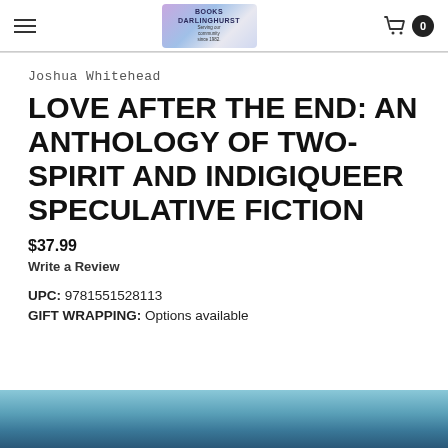Books Darlinghurst — Serving our community since 1982.
Joshua Whitehead
LOVE AFTER THE END: AN ANTHOLOGY OF TWO-SPIRIT AND INDIGIQUEER SPECULATIVE FICTION
$37.99
Write a Review
UPC: 9781551528113
GIFT WRAPPING: Options available
[Figure (photo): Bottom portion of a book cover image, showing blue/teal toned imagery]